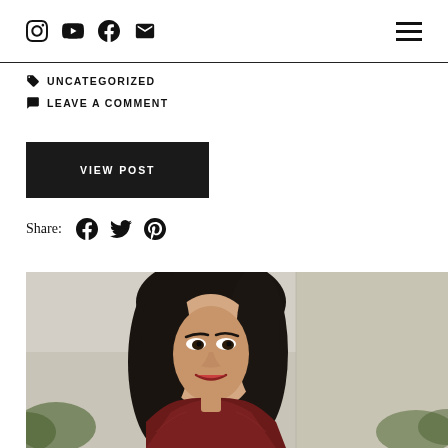Navigation bar with social icons (Instagram, YouTube, Facebook, Email) and hamburger menu
and perform well, after all, you'd want the same for your car, wouldn't you? However, making sure you look your best in the...
UNCATEGORIZED
LEAVE A COMMENT
VIEW POST
Share:
[Figure (photo): Portrait photo of a young woman with long dark hair, smiling, wearing a dark red/burgundy fur coat, outdoors with blurred background of stone wall and greenery]